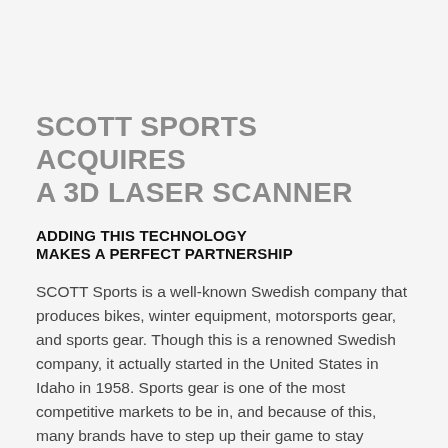SCOTT SPORTS ACQUIRES A 3D LASER SCANNER
ADDING THIS TECHNOLOGY MAKES A PERFECT PARTNERSHIP
SCOTT Sports is a well-known Swedish company that produces bikes, winter equipment, motorsports gear, and sports gear. Though this is a renowned Swedish company, it actually started in the United States in Idaho in 1958. Sports gear is one of the most competitive markets to be in, and because of this, many brands have to step up their game to stay relevant. SCOTT Sports has adopted 3D laser scanning to help the